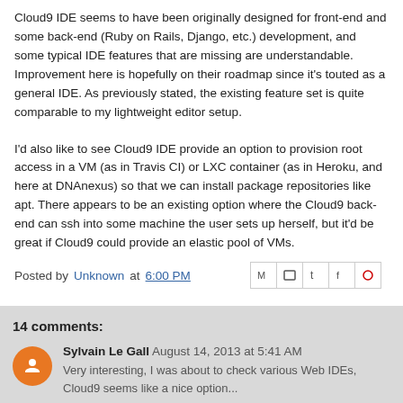Cloud9 IDE seems to have been originally designed for front-end and some back-end (Ruby on Rails, Django, etc.) development, and some typical IDE features that are missing are understandable. Improvement here is hopefully on their roadmap since it's touted as a general IDE. As previously stated, the existing feature set is quite comparable to my lightweight editor setup.
I'd also like to see Cloud9 IDE provide an option to provision root access in a VM (as in Travis CI) or LXC container (as in Heroku, and here at DNAnexus) so that we can install package repositories like apt. There appears to be an existing option where the Cloud9 back-end can ssh into some machine the user sets up herself, but it'd be great if Cloud9 could provide an elastic pool of VMs.
Posted by Unknown at 6:00 PM
14 comments:
Sylvain Le Gall August 14, 2013 at 5:41 AM
Very interesting, I was about to check various Web IDEs, Cloud9 seems like a nice option...
Does it do some kind of code completion and auto-ind...